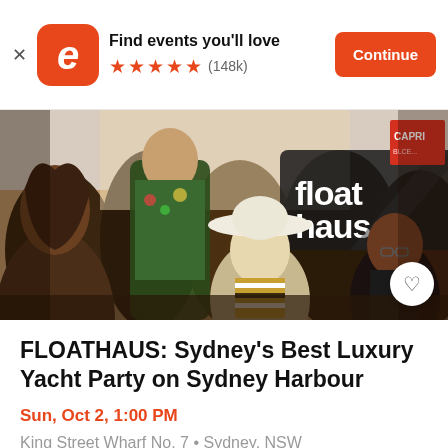[Figure (screenshot): Eventbrite app banner with orange logo, 'Find events you'll love' text, 5 stars, (148k) reviews, and orange Continue button]
[Figure (photo): Crowded outdoor party scene with people dancing and celebrating, 'floathaus' logo visible in center, CAPRI sign in background]
FLOATHAUS: Sydney's Best Luxury Yacht Party on Sydney Harbour
Sun, Oct 2, 1:00 PM
King Street Wharf No. 7 • Sydney, NSW
$148.79